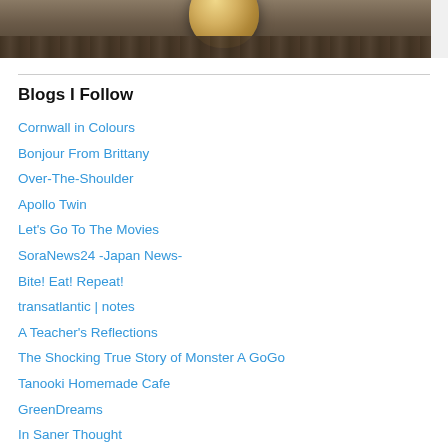[Figure (photo): Cropped photo showing a decorative bowl on a wooden surface, dark wood grain background visible]
Blogs I Follow
Cornwall in Colours
Bonjour From Brittany
Over-The-Shoulder
Apollo Twin
Let's Go To The Movies
SoraNews24 -Japan News-
Bite! Eat! Repeat!
transatlantic | notes
A Teacher's Reflections
The Shocking True Story of Monster A GoGo
Tanooki Homemade Cafe
GreenDreams
In Saner Thought